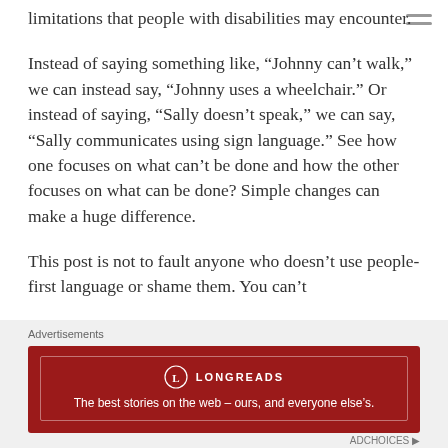limitations that people with disabilities may encounter.
Instead of saying something like, “Johnny can’t walk,” we can instead say, “Johnny uses a wheelchair.” Or instead of saying, “Sally doesn’t speak,” we can say, “Sally communicates using sign language.” See how one focuses on what can’t be done and how the other focuses on what can be done? Simple changes can make a huge difference.
This post is not to fault anyone who doesn’t use people-first language or shame them. You can’t
Advertisements
[Figure (infographic): Longreads advertisement banner. Red background with Longreads logo (circle with L) and text: The best stories on the web – ours, and everyone else’s.]